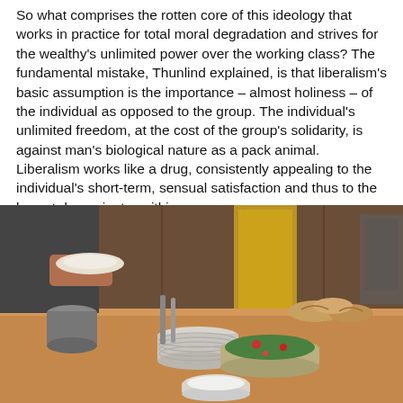So what comprises the rotten core of this ideology that works in practice for total moral degradation and strives for the wealthy's unlimited power over the working class? The fundamental mistake, Thunlind explained, is that liberalism's basic assumption is the importance – almost holiness – of the individual as opposed to the group. The individual's unlimited freedom, at the cost of the group's solidarity, is against man's biological nature as a pack animal. Liberalism works like a drug, consistently appealing to the individual's short-term, sensual satisfaction and thus to the lowest denominator within us.
[Figure (photo): Indoor buffet scene: a person's torso and hands holding a plate on the left, a wooden table in the foreground with stacked white plates, a large glass bowl of green salad with tomatoes, bread rolls, and a small bowl of white sauce/dip. Wooden paneled wall in the background.]